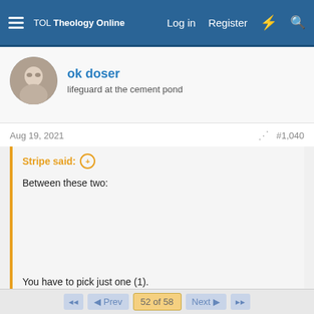TOL Theology Online — Log in  Register
ok doser
lifeguard at the cement pond
Aug 19, 2021   #1,040
Stripe said:
Between these two:
You have to pick just one (1).
I have a relative who works in construction. Maybe it's something like that.
chrysostom
◄◄   ◄ Prev   52 of 58   Next ►   ►►